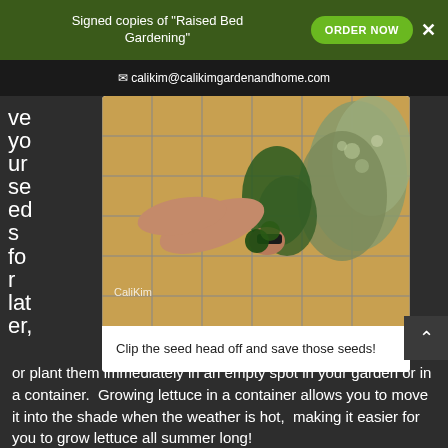Signed copies of "Raised Bed Gardening" ORDER NOW ✕
✉ calikim@calikimgardenandhome.com
ve your seeds for later,
[Figure (photo): A person's hands clipping a seed head off a plant growing on a wire grid trellis, with green and dried herb plants visible.]
Clip the seed head off and save those seeds!
or plant them immediately in an empty spot in your garden or in a container.  Growing lettuce in a container allows you to move it into the shade when the weather is hot,  making it easier for you to grow lettuce all summer long!